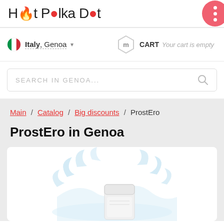Hot Polka Dot
Italy, Genoa  CART Your cart is empty
SEARCH IN GENOA...
Main / Catalog / Big discounts / ProstEro
ProstEro in Genoa
[Figure (photo): Product photo of ProstEro supplement container with water splash effect on white background]